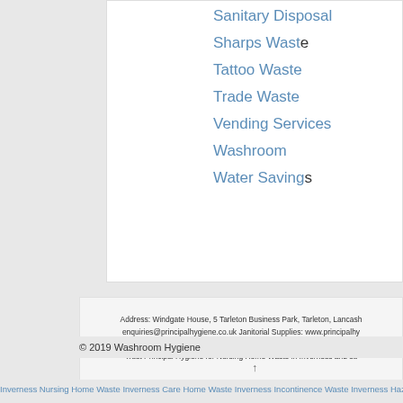Sanitary Disposal
Sharps Waste
Tattoo Waste
Trade Waste
Vending Services
Washroom
Water Savings
Address: Windgate House, 5 Tarleton Business Park, Tarleton, Lancash… enquiries@principalhygiene.co.uk Janitorial Supplies: www.principalhy…
Trust Principal Hygiene for Nursing Home Waste in Inverness and su…
© 2019 Washroom Hygiene
Inverness Nursing Home Waste Inverness Care Home Waste Inverness Incontinence Waste Inverness Hazar…